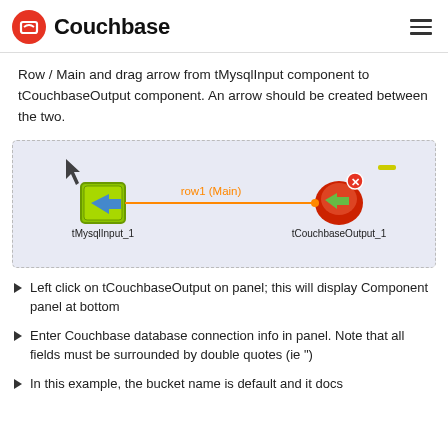Couchbase
Row / Main and drag arrow from tMysqlInput component to tCouchbaseOutput component. An arrow should be created between the two.
[Figure (screenshot): Screenshot of a data flow diagram showing tMysqlInput_1 connected to tCouchbaseOutput_1 via an orange arrow labeled 'row1 (Main)'.]
Left click on tCouchbaseOutput on panel; this will display Component panel at bottom
Enter Couchbase database connection info in panel. Note that all fields must be surrounded by double quotes (ie ")
In this example, the bucket name is default and it docs